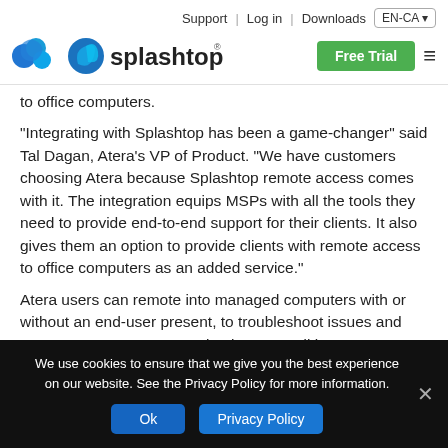Support | Log in | Downloads | EN-CA | Free Trial
[Figure (logo): Splashtop logo with blue icon and text]
to office computers.
“Integrating with Splashtop has been a game-changer” said Tal Dagan, Atera’s VP of Product. “We have customers choosing Atera because Splashtop remote access comes with it. The integration equips MSPs with all the tools they need to provide end-to-end support for their clients. It also gives them an option to provide clients with remote access to office computers as an added service.”
Atera users can remote into managed computers with or without an end-user present, to troubleshoot issues and ensure computers are running in top condition.
They can launch a remote session instantly and control a
We use cookies to ensure that we give you the best experience on our website. See the Privacy Policy for more information.